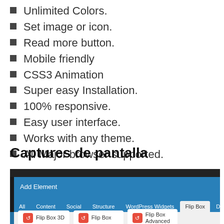Unlimited Colors.
Set image or icon.
Read more button.
Mobile friendly
CSS3 Animation
Super easy Installation.
100% responsive.
Easy user interface.
Works with any theme.
All Major browser supported.
Captures de pantalla
[Figure (screenshot): Screenshot of a WordPress plugin interface showing 'Add Element' dialog with tabs: All, Content, Social, Structure, WordPress Widgets, Flip Box (active), Deprecated. Three cards shown: Flip Box 3D, Flip Box, Flip Box Advanced, each with a red icon.]